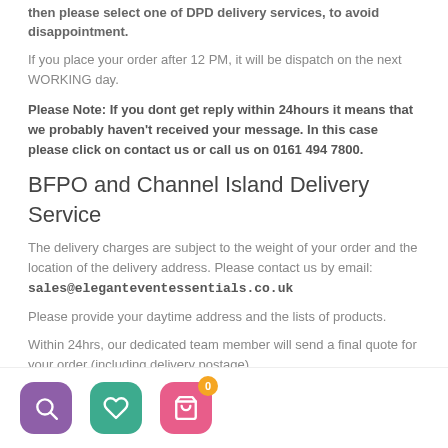then please select one of DPD delivery services, to avoid disappointment.
If you place your order after 12 PM, it will be dispatch on the next WORKING day.
Please Note: If you dont get reply within 24hours it means that we probably haven't received your message. In this case please click on contact us or call us on 0161 494 7800.
BFPO and Channel Island Delivery Service
The delivery charges are subject to the weight of your order and the location of the delivery address. Please contact us by email: sales@eleganteventessentials.co.uk
Please provide your daytime address and the lists of products.
Within 24hrs, our dedicated team member will send a final quote for your order (including delivery postage).